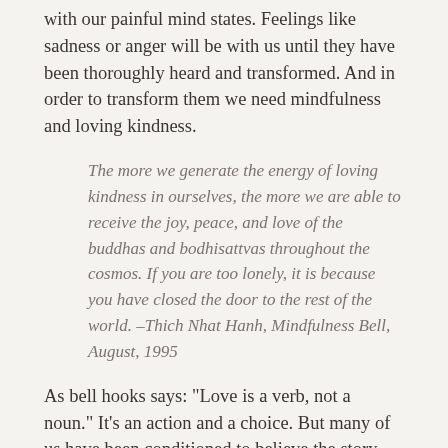with our painful mind states. Feelings like sadness or anger will be with us until they have been thoroughly heard and transformed. And in order to transform them we need mindfulness and loving kindness.
The more we generate the energy of loving kindness in ourselves, the more we are able to receive the joy, peace, and love of the buddhas and bodhisattvas throughout the cosmos. If you are too lonely, it is because you have closed the door to the rest of the world. –Thich Nhat Hanh, Mindfulness Bell, August, 1995
As bell hooks says: "Love is a verb, not a noun." It's an action and a choice. But many of us have been conditioned to believe the story that happiness and loving kindness will come and go on their own. The